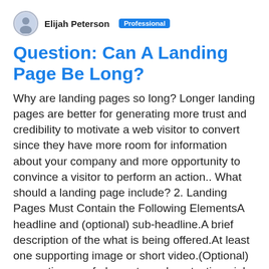Elijah Peterson  Professional
Question: Can A Landing Page Be Long?
Why are landing pages so long? Longer landing pages are better for generating more trust and credibility to motivate a web visitor to convert since they have more room for information about your company and more opportunity to convince a visitor to perform an action.. What should a landing page include? 2. Landing Pages Must Contain the Following ElementsA headline and (optional) sub-headline.A brief description of the what is being offered.At least one supporting image or short video.(Optional) supporting proof elements such as testimonials, customer logos, or security badges.More items...•Oct 11, 2011 What is